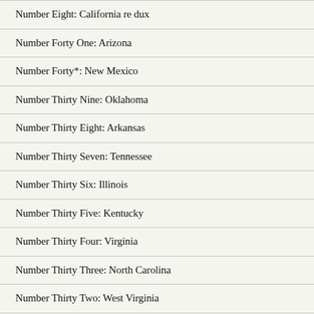Number Eight: California re dux
Number Forty One: Arizona
Number Forty*: New Mexico
Number Thirty Nine: Oklahoma
Number Thirty Eight: Arkansas
Number Thirty Seven: Tennessee
Number Thirty Six: Illinois
Number Thirty Five: Kentucky
Number Thirty Four: Virginia
Number Thirty Three: North Carolina
Number Thirty Two: West Virginia